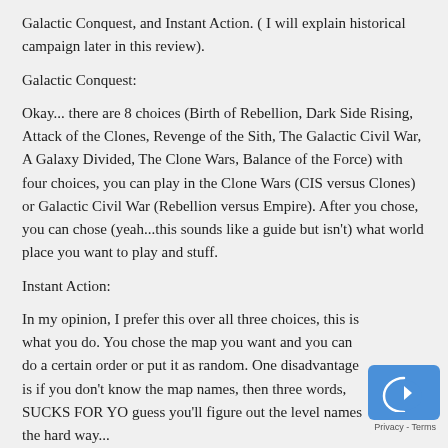Galactic Conquest, and Instant Action. ( I will explain historical campaign later in this review).
Galactic Conquest:
Okay... there are 8 choices (Birth of Rebellion, Dark Side Rising, Attack of the Clones, Revenge of the Sith, The Galactic Civil War, A Galaxy Divided, The Clone Wars, Balance of the Force) with four choices, you can play in the Clone Wars (CIS versus Clones) or Galactic Civil War (Rebellion versus Empire). After you chose, you can chose (yeah...this sounds like a guide but isn't) what world place you want to play and stuff.
Instant Action:
In my opinion, I prefer this over all three choices, this is what you do. You chose the map you want and you can do a certain order or put it as random. One disadvantage is if you don't know the map names, then three words, SUCKS FOR YO guess you'll figure out the level names the hard way...
Historical Conquest: